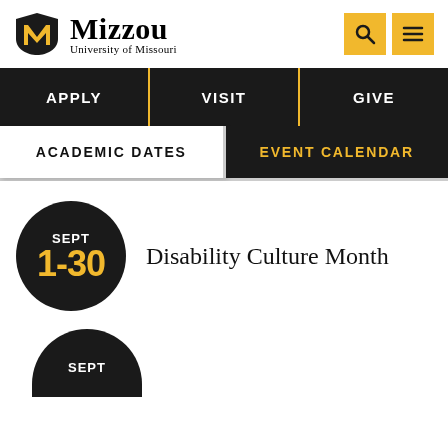Mizzou University of Missouri
APPLY  VISIT  GIVE
ACADEMIC DATES  EVENT CALENDAR
SEPT 1-30 Disability Culture Month
SEPT